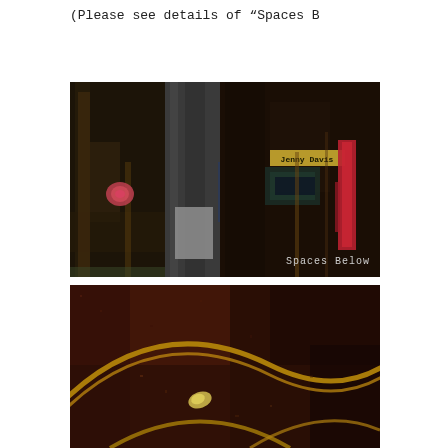(Please see details of “Spaces B…
[Figure (photo): Abstract mixed-media painting by Jenny Davis titled 'Spaces Below'. Dark tones with red vertical brushstroke, yellow label reading 'Jenny Davis', text 'Spaces Below' in lower right corner. Composed of three vertical panel sections.]
[Figure (photo): Close-up detail photograph of a dark reddish-brown textured surface with a circular/curved golden ring or wire element and small debris or organic material scattered across.]